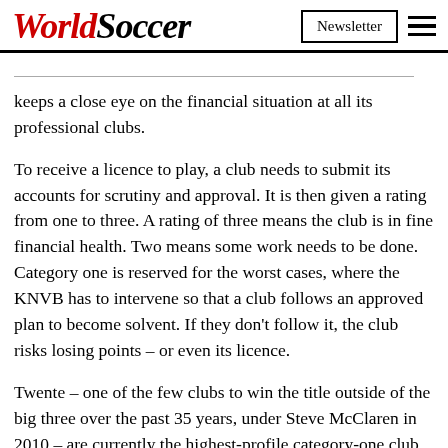WorldSoccer | Newsletter
...keeps a close eye on the financial situation at all its professional clubs.
To receive a licence to play, a club needs to submit its accounts for scrutiny and approval. It is then given a rating from one to three. A rating of three means the club is in fine financial health. Two means some work needs to be done. Category one is reserved for the worst cases, where the KNVB has to intervene so that a club follows an approved plan to become solvent. If they don’t follow it, the club risks losing points – or even its licence.
Twente – one of the few clubs to win the title outside of the big three over the past 35 years, under Steve McClaren in 2010 – are currently the highest-profile category-one club. Their su[redacted]ns League,[redacted]stment.